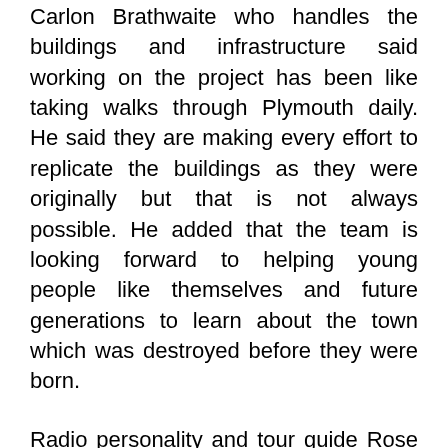Carlon Brathwaite who handles the buildings and infrastructure said working on the project has been like taking walks through Plymouth daily. He said they are making every effort to replicate the buildings as they were originally but that is not always possible. He added that the team is looking forward to helping young people like themselves and future generations to learn about the town which was destroyed before they were born.
Radio personality and tour guide Rose Willock called the experience magic as she was able to see streets and buildings that were once part of her every day life. Editor